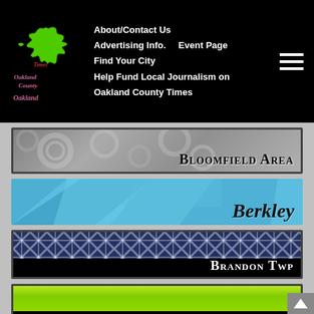About/Contact Us  Advertising Info.  Event Page  Find Your City  Help Fund Local Journalism on Oakland County Times
[Figure (logo): Oakland County Times logo with Michigan state outline in green]
[Figure (illustration): Bloomfield Area banner with decorative lace/circle pattern background]
[Figure (illustration): Berkley banner with blue geometric triangle background]
[Figure (illustration): Brandon Twp banner with plaid/argyle pattern background]
[Figure (illustration): Clarkston / Independence Twp banner with green grass background]
[Figure (illustration): Partial banner at bottom with pink heart/rose image]